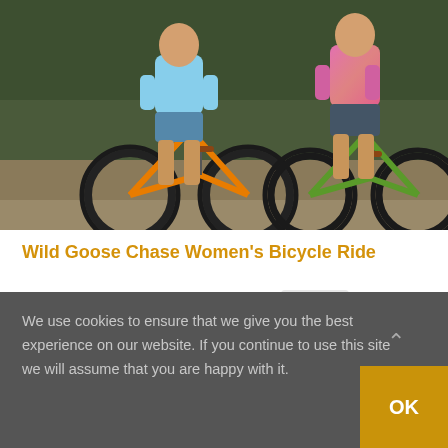[Figure (photo): Two women standing with bicycles — an orange mountain bike on the left and a green touring bike on the right. Outdoor setting with trees in background.]
Wild Goose Chase Women's Bicycle Ride
September 10 @ 8:00 am - 5:00 pm  (See all)
We use cookies to ensure that we give you the best experience on our website. If you continue to use this site we will assume that you are happy with it.